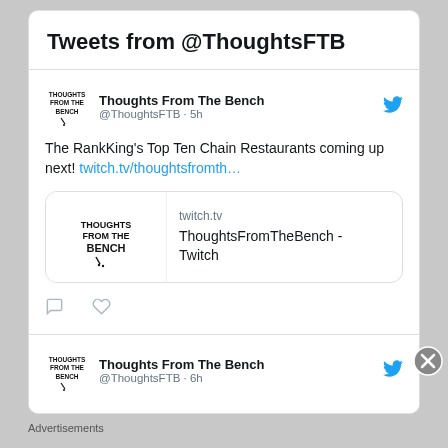Tweets from @ThoughtsFTB
Thoughts From The Bench @ThoughtsFTB · 5h
The RankKing's Top Ten Chain Restaurants coming up next! twitch.tv/thoughtsfromth…
[Figure (screenshot): Link preview card showing Thoughts From The Bench logo and twitch.tv / ThoughtsFromTheBench - Twitch]
Thoughts From The Bench @ThoughtsFTB · 6h
Advertisements